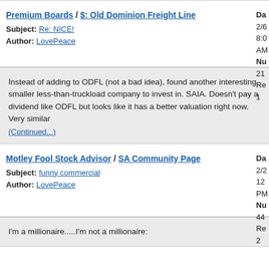Premium Boards / $: Old Dominion Freight Line
Subject: Re: NICE!
Author: LovePeace
Date: 2/6... 8:0... AM
Num: 21... Re... 1
Instead of adding to ODFL (not a bad idea), found another interesting smaller less-than-truckload company to invest in. SAIA. Doesn't pay a dividend like ODFL but looks like it has a better valuation right now. Very similar
(Continued...)
Motley Fool Stock Advisor / SA Community Page
Subject: funny commercial
Author: LovePeace
Date: 2/2... 12... PM
Num: 44... Re... 2
I'm a millionaire.....I'm not a millionaire: